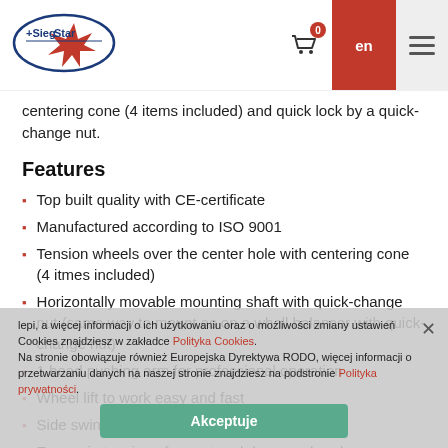SiegStar | en | 0
centering cone (4 items included) and quick lock by a quick-change nut.
Features
Top built quality with CE-certificate
Manufactured according to ISO 9001
Tension wheels over the center hole with centering cone (4 itmes included)
Horizontally movable mounting shaft with quick-change nut (same way to mount as on a whell balancer with quick-change nut)
1 bead pushing arm for professional operation
Wheel lift to work easy and fast
Side swing arm design
Eccentric-tension of mount and demount head